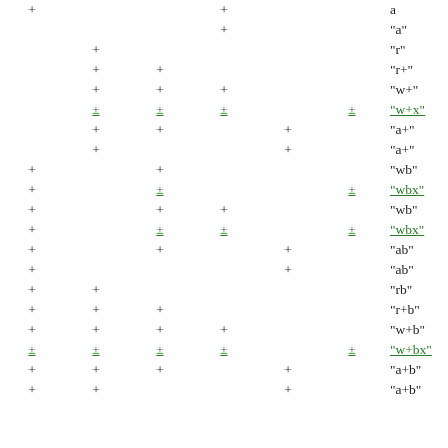| col1 | col2 | col3 | col4 | col5 | col6 | mode |
| --- | --- | --- | --- | --- | --- | --- |
| + |  |  | + |   |  | a |
|  |  |  | + |  |  | "a" |
|  | + |  |  |  |  | "r" |
|  | + | + |  |  |  | "r+" |
|  | + | + | + |  |  | "w+" |
|  | ± | ± | ± |  | ± | "w+x" |
|  | + | + |  | + |  | "a+" |
|  | + |  |  | + |  | "a+" |
| + |  | + |  |  |  | "wb" |
| + |  | ± |  |  | ± | "wbx" |
| + |  | + | + |  |  | "wb" |
| + |  | ± | ± |  | ± | "wbx" |
| + |  | + |  | + |  | "ab" |
| + |  |  |  | + |  | "ab" |
| + | + |  |  |  |  | "rb" |
| + | + | + |  |  |  | "r+b" |
| + | + | + | + |  |  | "w+b" |
| ± | ± | ± | ± |  | ± | "w+bx" |
| + | + | + |  | + |  | "a+b" |
| + | + |  |  | + |  | "a+b" |